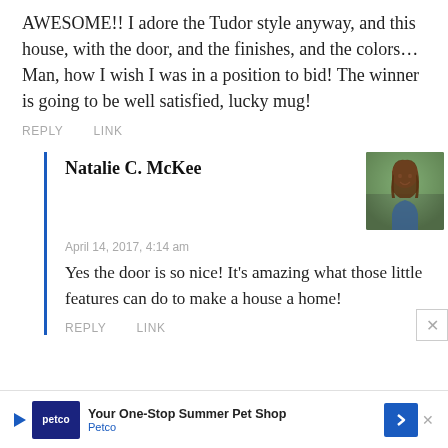AWESOME!! I adore the Tudor style anyway, and this house, with the door, and the finishes, and the colors… Man, how I wish I was in a position to bid! The winner is going to be well satisfied, lucky mug!
REPLY   LINK
Natalie C. McKee
[Figure (photo): Profile photo of Natalie C. McKee, a woman with long brown hair, smiling, outdoors with green foliage background]
April 14, 2017, 4:14 am
Yes the door is so nice! It's amazing what those little features can do to make a house a home!
REPLY   LINK
[Figure (screenshot): Petco advertisement banner: 'Your One-Stop Summer Pet Shop' with Petco logo and blue diamond arrow icon]